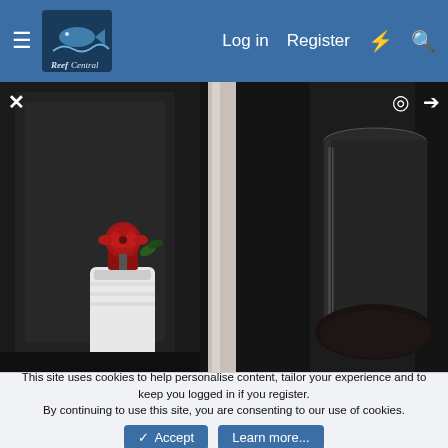Reef Central - Log in   Register
[Figure (photo): Dark indoor photo showing aquarium equipment: a white cylindrical canister/reactor with a red valve on top, a white vertical PVC pipe in the center, and a large glass cylindrical container (likely a protein skimmer or reactor) on the right. Background is a dark wall/cabinet.]
This site uses cookies to help personalise content, tailor your experience and to keep you logged in if you register.
By continuing to use this site, you are consenting to our use of cookies.
✓ Accept   Learn more...